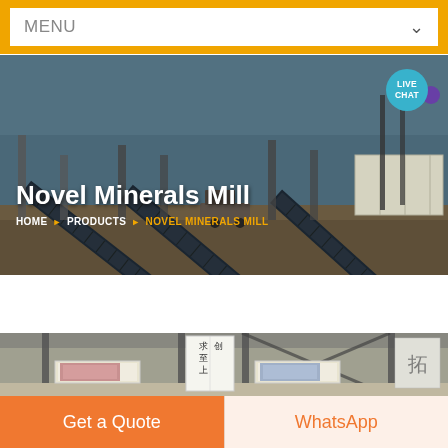MENU
[Figure (photo): Industrial mining conveyor belt facility with multiple large conveyor structures against a blue sky, with ground and storage containers visible. Text overlay reads: Novel Minerals Mill, with breadcrumb HOME > PRODUCTS > NOVEL MINERALS MILL. Live Chat bubble in top right corner.]
Novel Minerals Mill
HOME ▸ PRODUCTS ▸ NOVEL MINERALS MILL
[Figure (photo): Interior of a factory or industrial building showing columns, bright lighting panels, a white sign with Chinese characters (求至上 创), and advertising posters on the walls.]